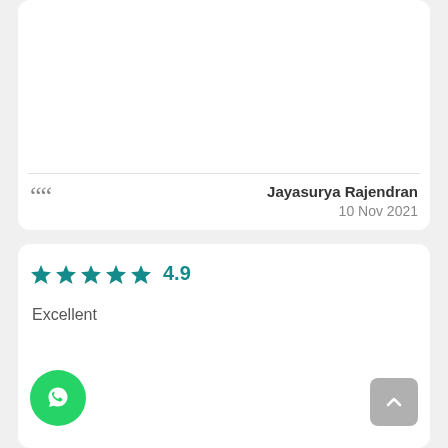““
Jayasurya Rajendran
10 Nov 2021
[Figure (other): Star rating display showing 5 teal stars and score 4.9]
Excellent
[Figure (other): WhatsApp button (green circle with phone icon)]
[Figure (other): Scroll to top button (grey rounded square with up arrow)]